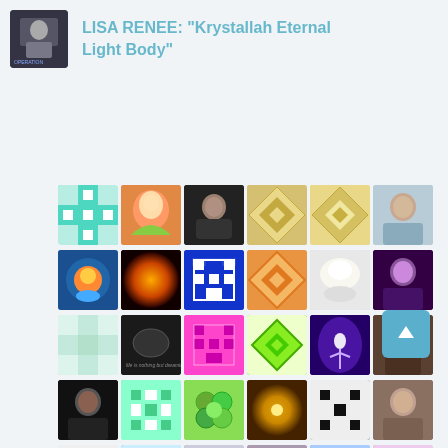[Figure (photo): Small thumbnail image of a person at a podium, top-left header]
LISA RENEE: “Krystallah Eternal Light Body”
[Figure (illustration): Grid of 42 small avatar/profile images and decorative pattern tiles arranged in 7 rows of 6 columns]
[Figure (illustration): Teal scroll-to-top button with upward arrow, right side]